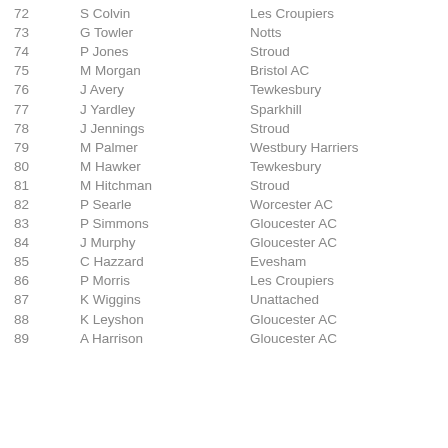| # | Name | Club |
| --- | --- | --- |
| 72 | S Colvin | Les Croupiers |
| 73 | G Towler | Notts |
| 74 | P Jones | Stroud |
| 75 | M Morgan | Bristol AC |
| 76 | J Avery | Tewkesbury |
| 77 | J Yardley | Sparkhill |
| 78 | J Jennings | Stroud |
| 79 | M Palmer | Westbury Harriers |
| 80 | M Hawker | Tewkesbury |
| 81 | M Hitchman | Stroud |
| 82 | P Searle | Worcester AC |
| 83 | P Simmons | Gloucester AC |
| 84 | J Murphy | Gloucester AC |
| 85 | C Hazzard | Evesham |
| 86 | P Morris | Les Croupiers |
| 87 | K Wiggins | Unattached |
| 88 | K Leyshon | Gloucester AC |
| 89 | A Harrison | Gloucester AC |